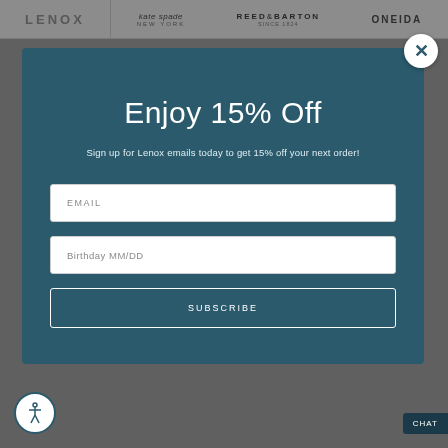[Figure (screenshot): Top navigation bar with Lenox logo on left, and brand logos (kate spade NEW YORK, REED & BARTON SINCE 1824, ONEIDA) on right]
[Figure (screenshot): Email signup modal overlay on Lenox website with teal/dark blue background, close X button, title 'Enjoy 15% Off', subtitle text, email input, birthday input, and SUBSCRIBE button]